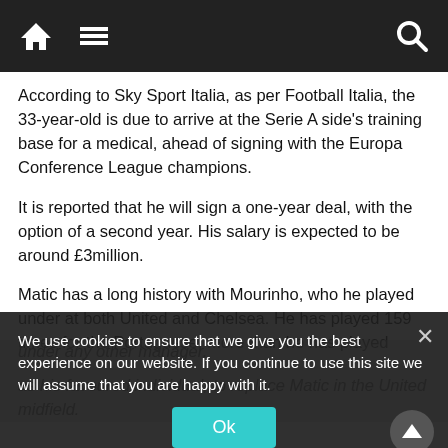Navigation bar with home icon, menu icon, and search icon
According to Sky Sport Italia, as per Football Italia, the 33-year-old is due to arrive at the Serie A side's training base for a medical, ahead of signing with the Europa Conference League champions.
It is reported that he will sign a one-year deal, with the option of a second year. His salary is expected to be around £3million.
Matic has a long history with Mourinho, who he played under at both United and Chelsea. He has played 159 times for the Portuguese, more than he has played under any other manager.
as his favoured individual, to replace Matic in the United midfield.
We use cookies to ensure that we give you the best experience on our website. If you continue to use this site we will assume that you are happy with it.